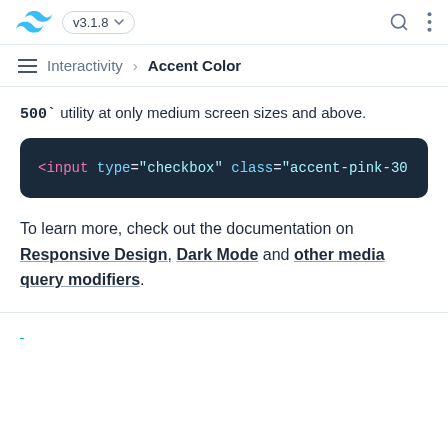v3.1.8
Interactivity > Accent Color
500` utility at only medium screen sizes and above.
[Figure (screenshot): Code block showing: <input type="checkbox" class="accent-pink-30 on dark background]
To learn more, check out the documentation on Responsive Design, Dark Mode and other media query modifiers.
(partial link text visible at bottom)